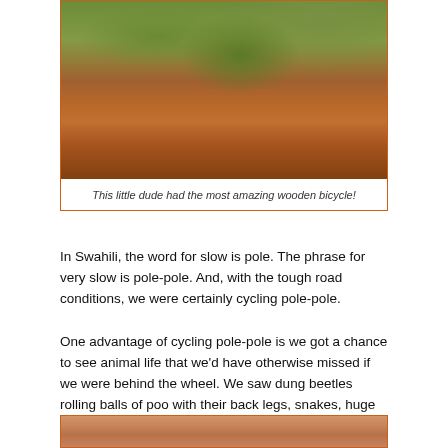[Figure (photo): Child riding a wooden bicycle on a red dirt path with green vegetation in the background]
This little dude had the most amazing wooden bicycle!
In Swahili, the word for slow is pole. The phrase for very slow is pole-pole. And, with the tough road conditions, we were certainly cycling pole-pole.
One advantage of cycling pole-pole is we got a chance to see animal life that we'd have otherwise missed if we were behind the wheel. We saw dung beetles rolling balls of poo with their back legs, snakes, huge columns of marching ants and even a chongologo which raced us up a particularly steep hill.
[Figure (photo): Close-up photo of reddish-brown dirt ground, partially visible at bottom of page]